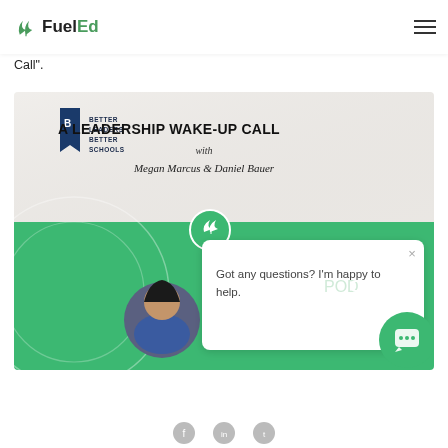FuelEd
Call".
[Figure (illustration): Podcast promotional image for 'A Leadership Wake-Up Call' with Megan Marcus & Daniel Bauer, Better Leaders Better Schools branding, green and white design with chat popup overlay saying 'Got any questions? I'm happy to help.']
Got any questions? I'm happy to help.